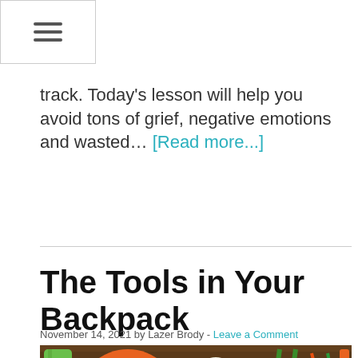Navigation menu icon (hamburger)
track. Today's lesson will help you avoid tons of grief, negative emotions and wasted… [Read more...]
The Tools in Your Backpack
November 14, 2021 by Lazer Brody - Leave a Comment
[Figure (photo): Overhead flat-lay photo of backpacking/hiking gear including an orange backpack, green sleeping mat, rope coils, trekking poles, and various tools laid out on a wooden surface.]